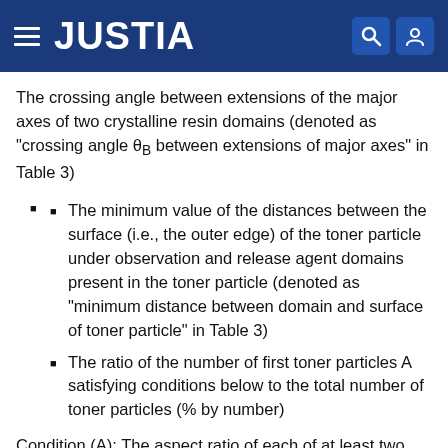JUSTIA
The crossing angle between extensions of the major axes of two crystalline resin domains (denoted as "crossing angle θB between extensions of major axes" in Table 3)
The minimum value of the distances between the surface (i.e., the outer edge) of the toner particle under observation and release agent domains present in the toner particle (denoted as "minimum distance between domain and surface of toner particle" in Table 3)
The ratio of the number of first toner particles A satisfying conditions below to the total number of toner particles (% by number)
Condition (A): The aspect ratio of each of at least two